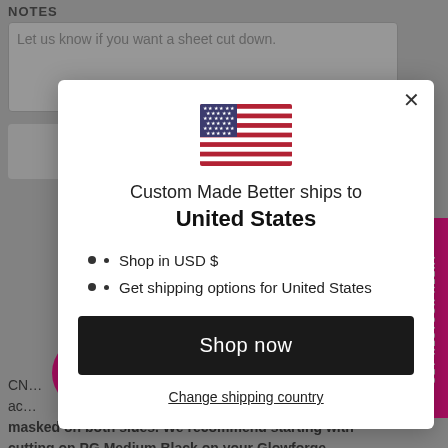NOTES
Let us know if you want a sheet cut down.
[Figure (screenshot): Modal dialog showing shipping destination: US flag icon, text 'Custom Made Better ships to United States', bullet points 'Shop in USD $' and 'Get shipping options for United States', a 'Shop now' black button, and a 'Change shipping country' underlined link. Close X button in top right.]
GET RESTOCK ALERT
CNC... ac... masked on both sides. We recommend starting with cutting on PG Medium Black on your Glowforge.